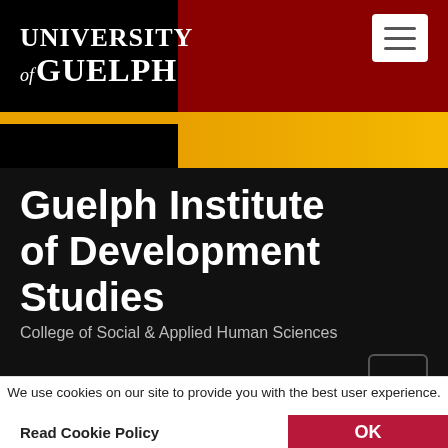[Figure (logo): University of Guelph logo with red and black header and gold/orange bar]
Guelph Institute of Development Studies
College of Social & Applied Human Sciences
Home / Our Research
We use cookies on our site to provide you with the best user experience.
Read Cookie Policy
OK